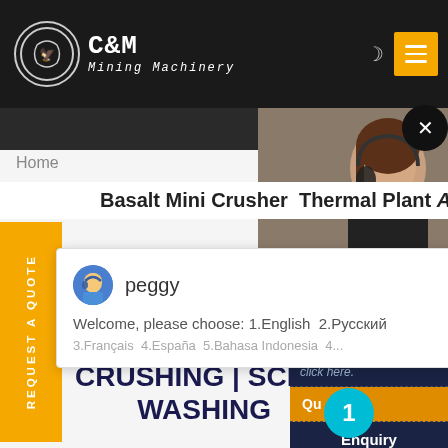C&M Mining Machinery
Home
Basalt Mini Crusher Thermal Plant A
[Figure (photo): Customer service representative woman with headset, partially visible on right side]
peggy
Welcome, please choose: 1.English  2.Русский
3.Français  4.España  5.Bahasa Indonesia  4...
CRUSHING | SCREENING
WASHING
click here.
Qu
1
Enquiry
drobilkalm@gmail.com
Provide Screening & Crushing Equipment To Serve The Quarry, Construction, Recycling, Mining, And Sand & Gravel Industry.